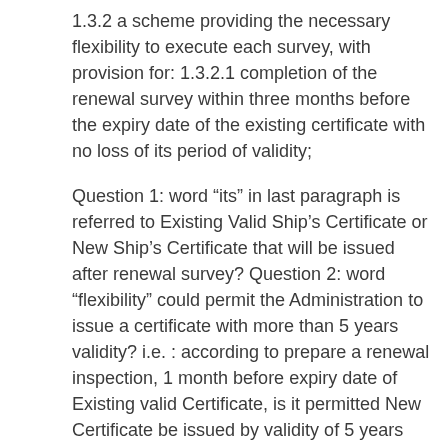1.3.2 a scheme providing the necessary flexibility to execute each survey, with provision for: 1.3.2.1 completion of the renewal survey within three months before the expiry date of the existing certificate with no loss of its period of validity;
Question 1: word “its” in last paragraph is referred to Existing Valid Ship’s Certificate or New Ship’s Certificate that will be issued after renewal survey? Question 2: word “flexibility” could permit the Administration to issue a certificate with more than 5 years validity? i.e. : according to prepare a renewal inspection, 1 month before expiry date of Existing valid Certificate, is it permitted New Certificate be issued by validity of 5 years and 1 month (61 months)?